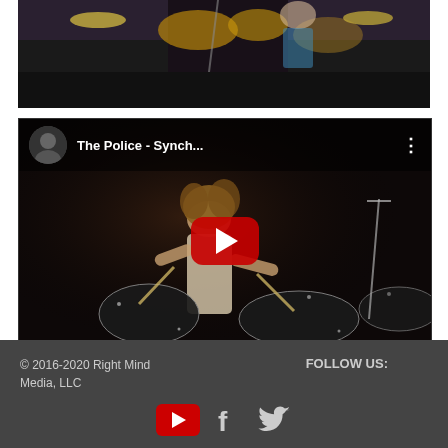[Figure (screenshot): Partially visible YouTube video showing a drummer performing live, dark background]
[Figure (screenshot): YouTube video embed showing 'The Police - Synch...' with a drummer performing live. A red YouTube play button is overlaid in the center. Top bar shows channel avatar and video title with three-dot menu.]
© 2016-2020 Right Mind Media, LLC
FOLLOW US: